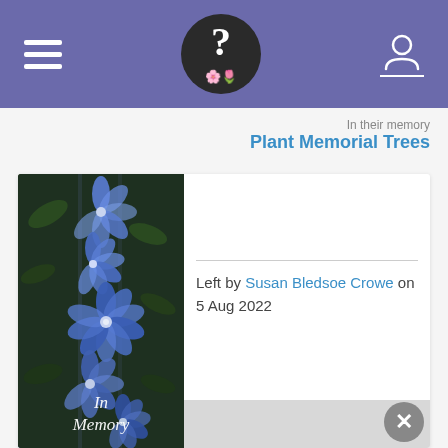Navigation header with hamburger menu, logo, and user icon
In their memory
Plant Memorial Trees
[Figure (photo): Photo of blue clematis flowers climbing vertically with green foliage background, with cursive 'In Memory' text overlay at bottom]
Left by Susan Bledsoe Crowe on 5 Aug 2022